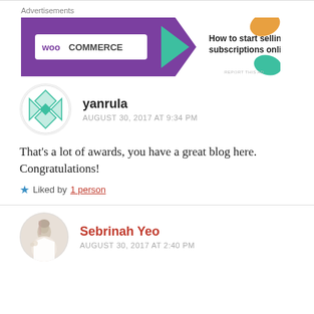[Figure (screenshot): WooCommerce advertisement banner: purple left side with WooCommerce logo and teal arrow, white right side with orange shape and text 'How to start selling subscriptions online']
yanrula
AUGUST 30, 2017 AT 9:34 PM
That’s a lot of awards, you have a great blog here. Congratulations!
Liked by 1 person
Sebrinah Yeo
AUGUST 30, 2017 AT 2:40 PM